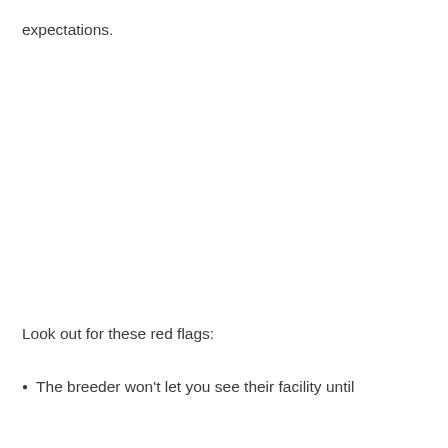expectations.
Look out for these red flags:
The breeder won't let you see their facility until